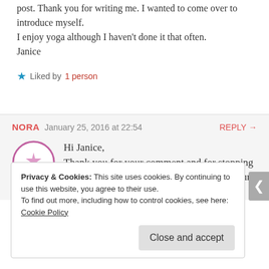post. Thank you for writing me. I wanted to come over to introduce myself.
I enjoy yoga although I haven't done it that often.
Janice
★ Liked by 1 person
NORA   January 25, 2016 at 22:54   REPLY →
Hi Janice,
Thank you for your comment and for stopping by.I found your post and many others on your site to be very interesting
Privacy & Cookies: This site uses cookies. By continuing to use this website, you agree to their use.
To find out more, including how to control cookies, see here: Cookie Policy
Close and accept